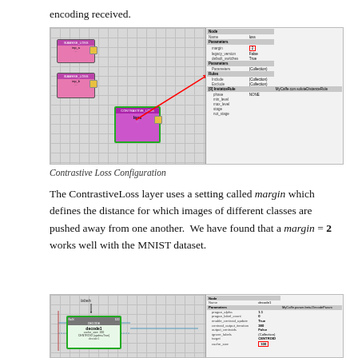encoding received.
[Figure (screenshot): Contrastive Loss Configuration screenshot showing node graph on left with pink/magenta SIAMESE_LOSS nodes and a properties panel on the right with margin=2 highlighted in red]
Contrastive Loss Configuration
The ContrastiveLoss layer uses a setting called margin which defines the distance for which images of different classes are pushed away from one another.  We have found that a margin = 2 works well with the MNIST dataset.
[Figure (screenshot): Decode1 node configuration screenshot showing node graph on left with labels input and decode1 node, and properties panel on right with cache_size=100 highlighted in red]